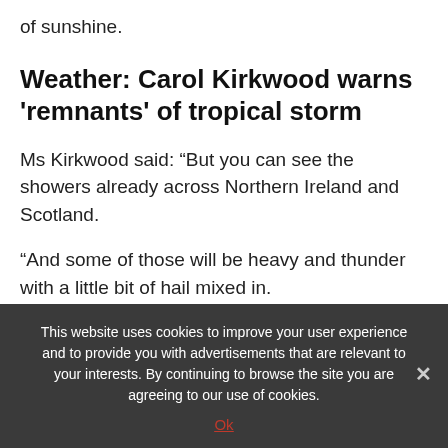of sunshine.
Weather: Carol Kirkwood warns 'remnants' of tropical storm
Ms Kirkwood said: “But you can see the showers already across Northern Ireland and Scotland.
“And some of those will be heavy and thunder with a little bit of hail mixed in.
“H…
This website uses cookies to improve your user experience and to provide you with advertisements that are relevant to your interests. By continuing to browse the site you are agreeing to our use of cookies.
Ok